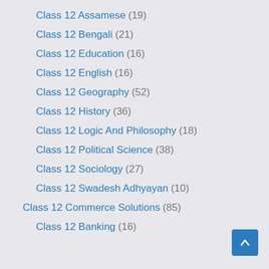Class 12 Assamese (19)
Class 12 Bengali (21)
Class 12 Education (16)
Class 12 English (16)
Class 12 Geography (52)
Class 12 History (36)
Class 12 Logic And Philosophy (18)
Class 12 Political Science (38)
Class 12 Sociology (27)
Class 12 Swadesh Adhyayan (10)
Class 12 Commerce Solutions (85)
Class 12 Banking (16)